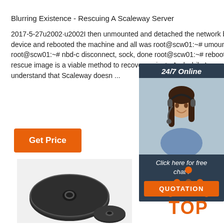Blurring Existence - Rescuing A Scaleway Server
2017-5-27u2002·u2002I then unmounted and detached the network block device and rebooted the machine and all was root@scw01:~# umount /mnt root@scw01:~# nbd-c disconnect, sock, done root@scw01:~# reboot. Con rescue image is a viable method to recover an insta And while I can understand that Scaleway doesn ...
[Figure (photo): Customer service representative with headset, 24/7 Online chat widget with QUOTATION button]
Get Price
[Figure (photo): Black disc/washer hardware component]
[Figure (logo): TOP logo with orange dots arranged in triangle above the word TOP in orange]